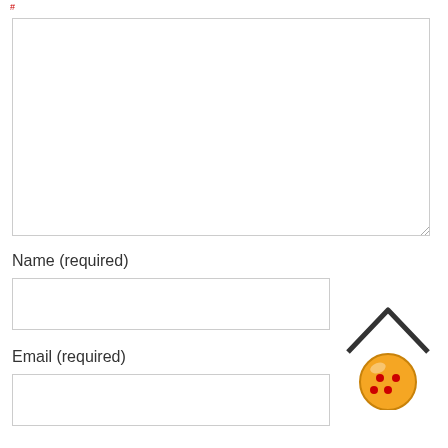#
Name (required)
Email (required)
[Figure (illustration): House roof outline icon above an orange/gold dragon ball with red stars, used as a back-to-top or home button icon]